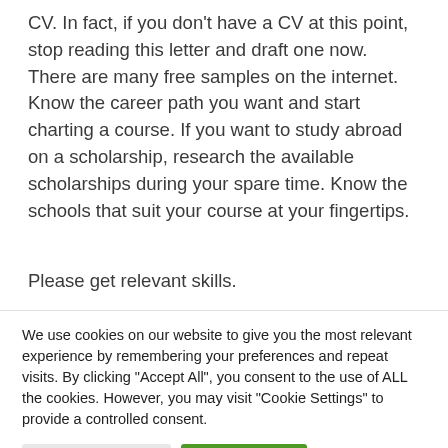CV. In fact, if you don't have a CV at this point, stop reading this letter and draft one now. There are many free samples on the internet. Know the career path you want and start charting a course. If you want to study abroad on a scholarship, research the available scholarships during your spare time. Know the schools that suit your course at your fingertips.
Please get relevant skills.
We use cookies on our website to give you the most relevant experience by remembering your preferences and repeat visits. By clicking "Accept All", you consent to the use of ALL the cookies. However, you may visit "Cookie Settings" to provide a controlled consent.